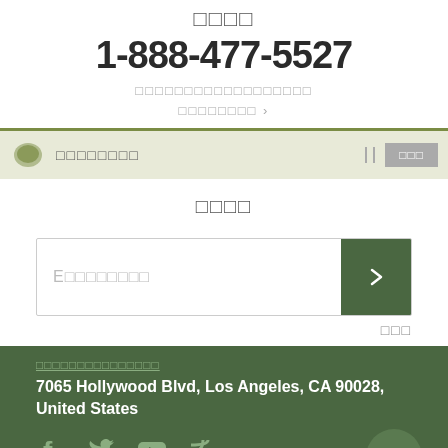□□□□
1-888-477-5527
□□□□□□□□□□□□□□□□□□ □□□□□□□□ ›
[Figure (screenshot): Chat bar with icon and button]
□□□□
E□□□□□□□□
□□□
□□□□□□□□□□□□□□□
7065 Hollywood Blvd, Los Angeles, CA 90028, United States
[Figure (illustration): Social media icons: Facebook, Twitter, YouTube, RSS, and Amazon chat button]